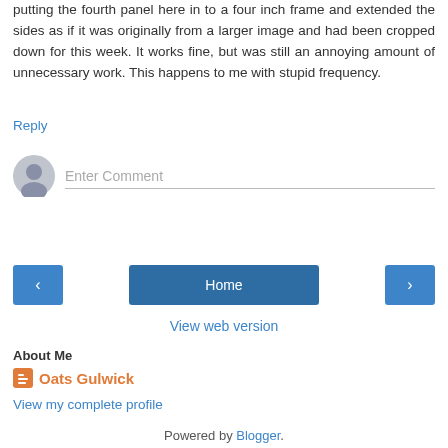putting the fourth panel here in to a four inch frame and extended the sides as if it was originally from a larger image and had been cropped down for this week. It works fine, but was still an annoying amount of unnecessary work. This happens to me with stupid frequency.
Reply
[Figure (other): Comment input area with user avatar icon and 'Enter Comment' placeholder text field]
[Figure (other): Navigation buttons: left arrow, Home, right arrow]
View web version
About Me
Oats Gulwick
View my complete profile
Powered by Blogger.